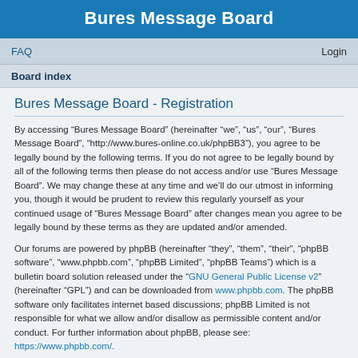Bures Message Board
FAQ    Login
Board index
Bures Message Board - Registration
By accessing “Bures Message Board” (hereinafter “we”, “us”, “our”, “Bures Message Board”, “http://www.bures-online.co.uk/phpBB3”), you agree to be legally bound by the following terms. If you do not agree to be legally bound by all of the following terms then please do not access and/or use “Bures Message Board”. We may change these at any time and we’ll do our utmost in informing you, though it would be prudent to review this regularly yourself as your continued usage of “Bures Message Board” after changes mean you agree to be legally bound by these terms as they are updated and/or amended.
Our forums are powered by phpBB (hereinafter “they”, “them”, “their”, “phpBB software”, “www.phpbb.com”, “phpBB Limited”, “phpBB Teams”) which is a bulletin board solution released under the “GNU General Public License v2” (hereinafter “GPL”) and can be downloaded from www.phpbb.com. The phpBB software only facilitates internet based discussions; phpBB Limited is not responsible for what we allow and/or disallow as permissible content and/or conduct. For further information about phpBB, please see: https://www.phpbb.com/.